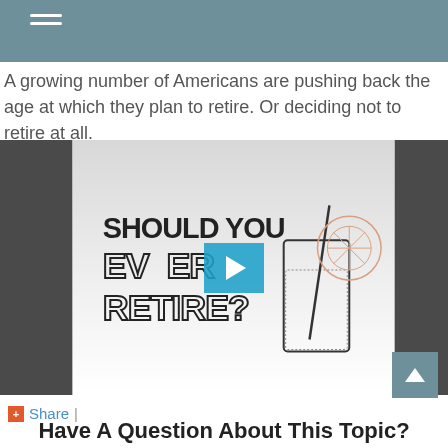A growing number of Americans are pushing back the age at which they plan to retire. Or deciding not to retire at all.
[Figure (screenshot): Video thumbnail showing illustrated text 'SHOULD YOU EVER RETIRE?' with a drawing of a glass with a straw, and a play button overlay. Dark gray side panels flank the video.]
Share |
Have A Question About This Topic?